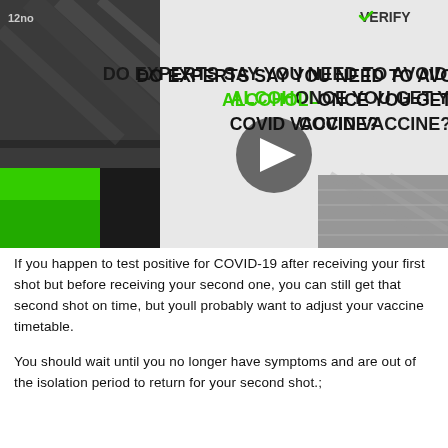[Figure (screenshot): Video thumbnail showing a VERIFY news segment with the text 'DO EXPERTS SAY YOU NEED TO AVOID ALCOHOL ONCE YOU GET YOUR COVID VACCINE?' in bold black and green text. A play button overlay is centered on the image. The background shows a stylized news graphic with green and black geometric shapes and blurred imagery. A '12no' timestamp is visible top-left and the VERIFY logo with a green checkmark is top-right.]
If you happen to test positive for COVID-19 after receiving your first shot but before receiving your second one, you can still get that second shot on time, but youll probably want to adjust your vaccine timetable.
You should wait until you no longer have symptoms and are out of the isolation period to return for your second shot.;